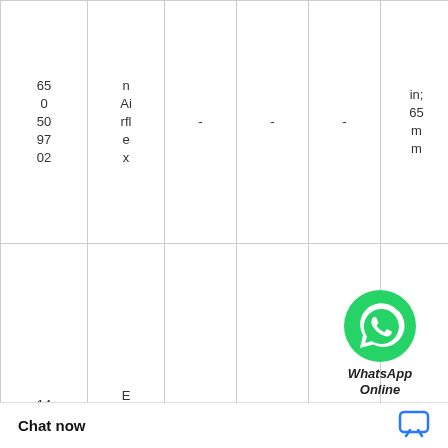| 65 0 50 97 02 | n Airflex | - | - | - | in; 65mm m | - | - | - | - |
| 14 CB 40 01 42 08 7 | Eaton Airflex | - | - | - | 125D C | - | - | - | - |
| X ... 52 | Eaton Ai | - | - | - | - | - | - | - | - |
[Figure (logo): WhatsApp Online logo with green phone icon and italic bold text 'WhatsApp Online']
Chat now